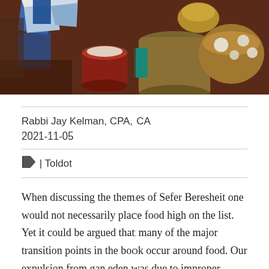[Figure (illustration): A still life painting with abstract colorful objects including bowls, vessels and geometric shapes in blues, reds, browns, yellows and whites on a dark background.]
Rabbi Jay Kelman, CPA, CA
2021-11-05
| Toldot
When discussing the themes of Sefer Beresheit one would not necessarily place food high on the list. Yet it could be argued that many of the major transition points in the book occur around food. Our expulsion from gan eden was due to improper eating. The first